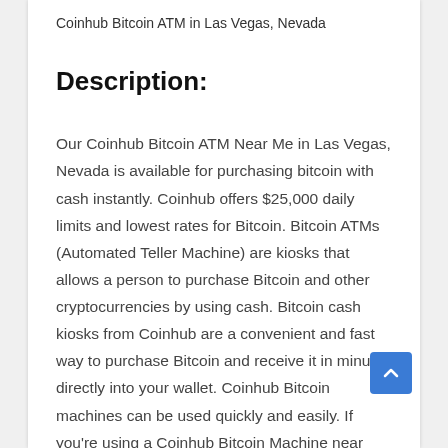Coinhub Bitcoin ATM in Las Vegas, Nevada
Description:
Our Coinhub Bitcoin ATM Near Me in Las Vegas, Nevada is available for purchasing bitcoin with cash instantly. Coinhub offers $25,000 daily limits and lowest rates for Bitcoin. Bitcoin ATMs (Automated Teller Machine) are kiosks that allows a person to purchase Bitcoin and other cryptocurrencies by using cash. Bitcoin cash kiosks from Coinhub are a convenient and fast way to purchase Bitcoin and receive it in minutes directly into your wallet. Coinhub Bitcoin machines can be used quickly and easily. If you're using a Coinhub Bitcoin Machine near me, you are able to purchase Bitcoin instantly and receive it within minutes. Purchases can be done in under 2 minutes and there is no prior account needed. Simply